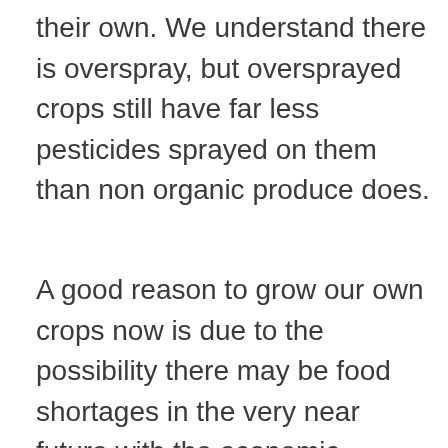their own. We understand there is overspray, but oversprayed crops still have far less pesticides sprayed on them than non organic produce does.
A good reason to grow our own crops now is due to the possibility there may be food shortages in the very near future with the economic fallouts from this pandemic. Farming ourselves is a great way to